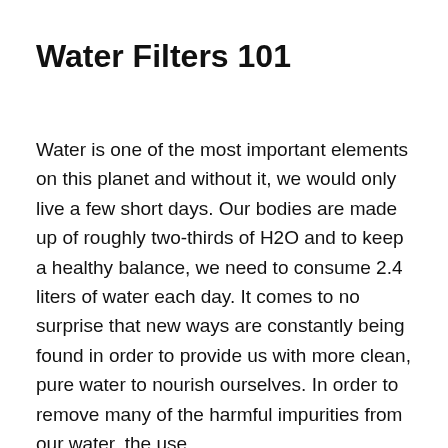Water Filters 101
Water is one of the most important elements on this planet and without it, we would only live a few short days. Our bodies are made up of roughly two-thirds of H2O and to keep a healthy balance, we need to consume 2.4 liters of water each day. It comes to no surprise that new ways are constantly being found in order to provide us with more clean, pure water to nourish ourselves. In order to remove many of the harmful impurities from our water, the use